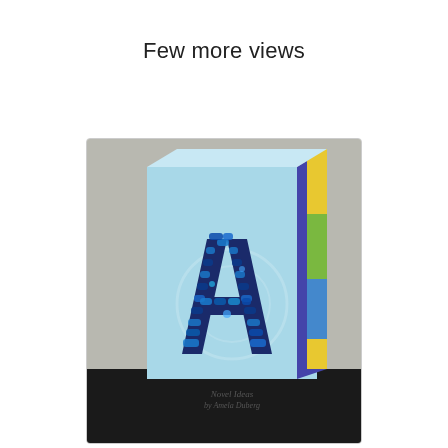Few more views
[Figure (photo): A decorative letter A covered with blue and navy sequins, placed on a light blue canvas/block. The side of the block shows yellow, green, and blue stripes. The item is displayed on a dark surface. Text at the bottom reads 'Novel Ideas by Amela Duberg'.]